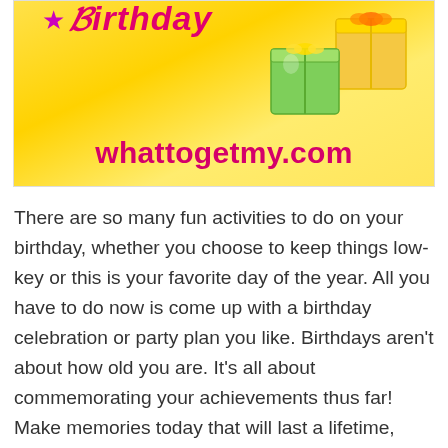[Figure (illustration): Website banner with yellow/golden background, colorful gift boxes, decorative star, stylized cursive birthday text partially visible at top, and the URL 'whattogetmy.com' in bold pink text]
There are so many fun activities to do on your birthday, whether you choose to keep things low-key or this is your favorite day of the year. All you have to do now is come up with a birthday celebration or party plan you like. Birthdays aren't about how old you are. It's all about commemorating your achievements thus far! Make memories today that will last a lifetime, recollections that will make you smile in the future. With style, rule over your day. Enjoy the day to the fullest; you deserve it.